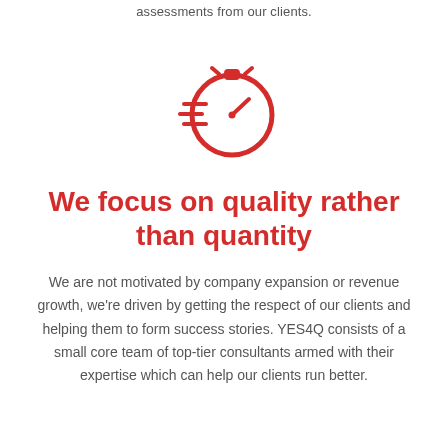assessments from our clients.
[Figure (illustration): Red stopwatch/speed icon with horizontal motion lines on the left side, indicating speed and efficiency.]
We focus on quality rather than quantity
We are not motivated by company expansion or revenue growth, we're driven by getting the respect of our clients and helping them to form success stories. YES4Q consists of a small core team of top-tier consultants armed with their expertise which can help our clients run better.